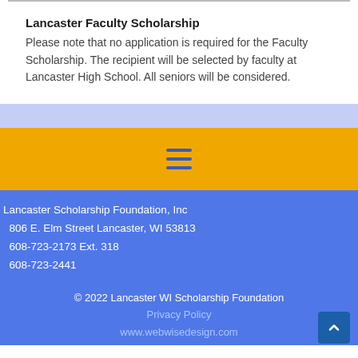Lancaster Faculty Scholarship
Please note that no application is required for the Faculty Scholarship. The recipient will be selected by faculty at Lancaster High School. All seniors will be considered.
[Figure (other): Hamburger menu icon (three horizontal lines) on an orange/yellow background]
Lancaster Scholarship Foundation, Inc
806 E. Elm Street Lancaster, WI 53813
608-723-2173 Ext. 318
608-723-2441
© 2022 Lancaster WI Scholarship Foundation
Privacy Policy
www.webwisedesign.com